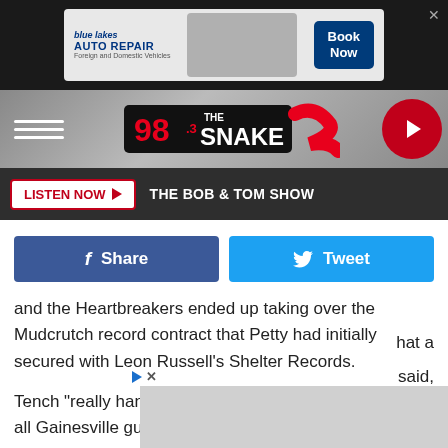[Figure (screenshot): Blue Lakes Auto Repair advertisement banner with mechanic and Book Now button]
[Figure (logo): 98.3 The Snake radio station logo navigation bar with hamburger menu and play button]
LISTEN NOW ▶   THE BOB & TOM SHOW
[Figure (screenshot): Facebook Share and Twitter Tweet social sharing buttons]
and the Heartbreakers ended up taking over the Mudcrutch record contract that Petty had initially secured with Leon Russell's Shelter Records.
Tench "really handpicked the Heartbreakers. They were all Gainesville guys who had moved out to L.A., so I was invited to play the harmonica," Petty told Billboard in 2005. "I went by the Vil[lage Recorder and] [w]hat a band!'[...] said,